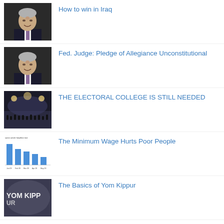[Figure (photo): Portrait of a middle-aged man in a suit]
How to win in Iraq
[Figure (photo): Portrait of a middle-aged man in a suit]
Fed. Judge: Pledge of Allegiance Unconstitutional
[Figure (photo): Crowd scene at a large indoor event]
THE ELECTORAL COLLEGE IS STILL NEEDED
[Figure (bar-chart): Small bar chart thumbnail with blue bars decreasing in height]
The Minimum Wage Hurts Poor People
[Figure (photo): Yom Kippur related image with text overlay]
The Basics of Yom Kippur